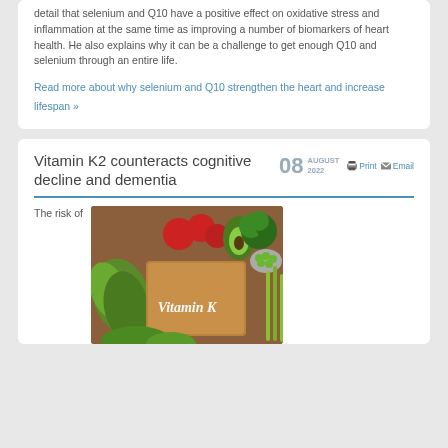detail that selenium and Q10 have a positive effect on oxidative stress and inflammation at the same time as improving a number of biomarkers of heart health. He also explains why it can be a challenge to get enough Q10 and selenium through an entire life.
Read more about why selenium and Q10 strengthen the heart and increase lifespan »
Vitamin K2 counteracts cognitive decline and dementia
08 AUGUST 2022  Print  Email
The risk of
[Figure (photo): Photo of various green vegetables including lettuce, broccoli, asparagus, avocado, peas and other vegetables arranged around a wooden cutting board with 'Vitamin K' written in white text]